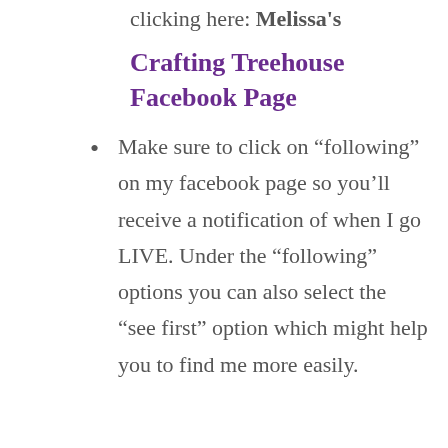clicking here: Melissa's
Crafting Treehouse Facebook Page
Make sure to click on “following” on my facebook page so you’ll receive a notification of when I go LIVE. Under the “following” options you can also select the “see first” option which might help you to find me more easily.